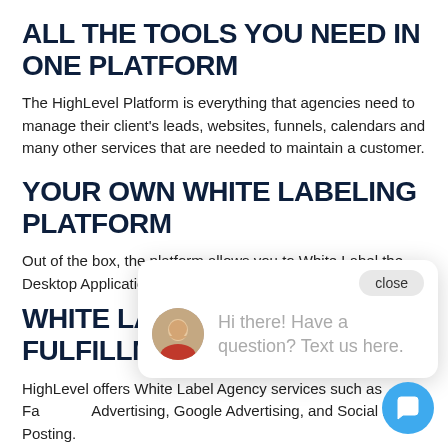ALL THE TOOLS YOU NEED IN ONE PLATFORM
The HighLevel Platform is everything that agencies need to manage their client's leads, websites, funnels, calendars and many other services that are needed to maintain a customer.
YOUR OWN WHITE LABELING PLATFORM
Out of the box, the platform allows you to White Label the Desktop Application and the URL.
WHITE LABEL FULFILLMENT SERVICES
HighLevel offers White Label Agency services such as Facebook Advertising, Google Advertising, and Social Media Posting.
[Figure (screenshot): Chat widget popup overlay showing a close button and a message: 'Hi there! Have a question? Text us here.' with a woman's avatar photo, and a blue circular chat button in the bottom right corner.]